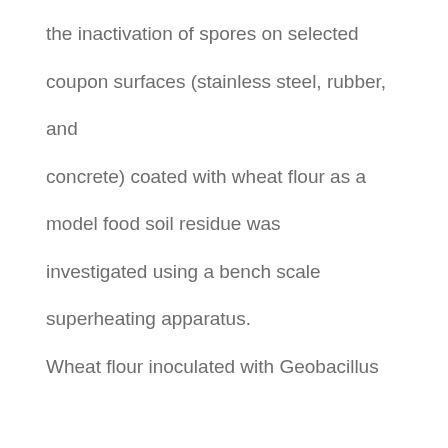the inactivation of spores on selected coupon surfaces (stainless steel, rubber, and concrete) coated with wheat flour as a model food soil residue was investigated using a bench scale superheating apparatus. Wheat flour inoculated with Geobacillus